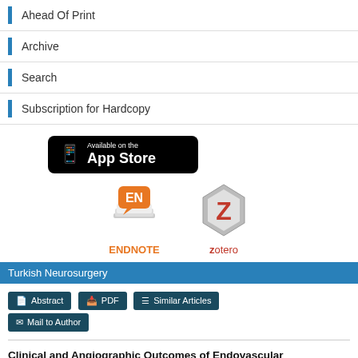Ahead Of Print
Archive
Search
Subscription for Hardcopy
[Figure (logo): Available on the App Store button (black rounded rectangle)]
[Figure (logo): EndNote logo - orange EN speech bubble icon with stack of papers]
[Figure (logo): Zotero logo - red Z hexagonal gem icon]
Turkish Neurosurgery
Abstract   PDF   Similar Articles   Mail to Author
Clinical and Angiographic Outcomes of Endovascular